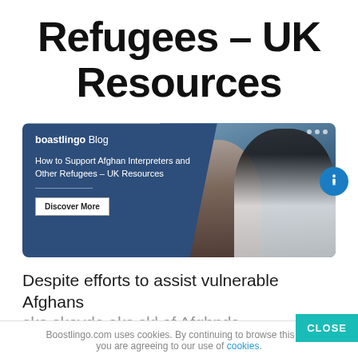Refugees – UK Resources
[Figure (screenshot): Boostlingo Blog banner showing 'How to Support Afghan Interpreters and Other Refugees - UK Resources' with a photo of refugees and a 'Discover More' button]
Despite efforts to assist vulnerable Afghans
Boostlingo.com uses cookies. By continuing to browse this site you are agreeing to our use of cookies.